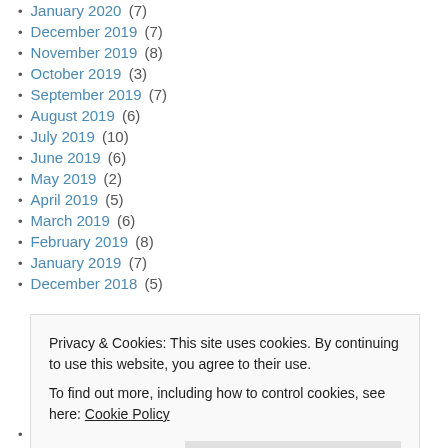January 2020 (7)
December 2019 (7)
November 2019 (8)
October 2019 (3)
September 2019 (7)
August 2019 (6)
July 2019 (10)
June 2019 (6)
May 2019 (2)
April 2019 (5)
March 2019 (6)
February 2019 (8)
January 2019 (7)
December 2018 (5)
Privacy & Cookies: This site uses cookies. By continuing to use this website, you agree to their use.
To find out more, including how to control cookies, see here: Cookie Policy
June 2018 (9)